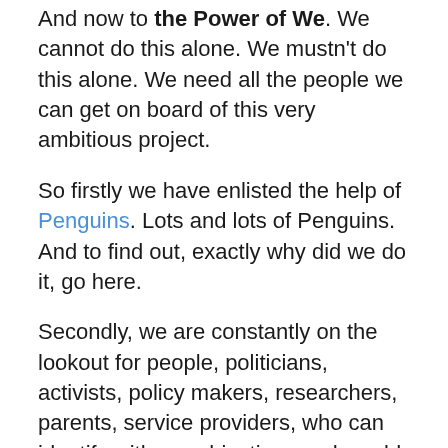And now to the Power of We. We cannot do this alone. We mustn't do this alone. We need all the people we can get on board of this very ambitious project.
So firstly we have enlisted the help of Penguins. Lots and lots of Penguins. And to find out, exactly why did we do it, go here.
Secondly, we are constantly on the lookout for people, politicians, activists, policy makers, researchers, parents, service providers, who can identify with our objectives and would like to support our campaign. This campaign is like a journey, and while on it we have already met so many amazing people, who are also engaged in the same battle like us, making cities better for families, making workplaces better for families, helping parents have more time for their children, as well as offering services to children bringing parents to work. Or is for famil…